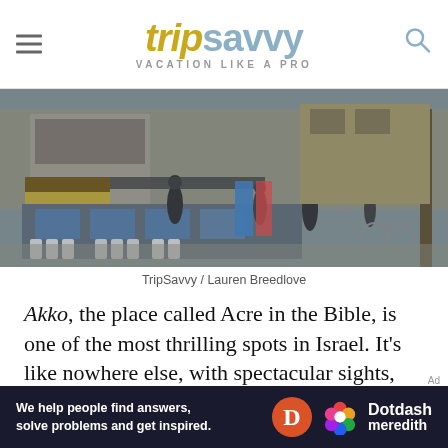tripsavvy VACATION LIKE A PRO
[Figure (photo): Street scene in Akko (Acre), Israel showing outdoor cafe with blue and white plastic chairs, market stalls, people walking on cobblestone street, colorful umbrella, mosque dome visible in background, overcast rainy day]
TripSavvy / Lauren Breedlove
Akko, the place called Acre in the Bible, is one of the most thrilling spots in Israel. It's like nowhere else, with spectacular sights, stirring history, and an intensely exotic aura
[Figure (infographic): Dotdash Meredith advertisement banner: 'We help people find answers, solve problems and get inspired.' with D logo and colorful flower icon]